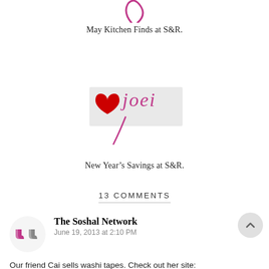[Figure (illustration): Partial cursive/script logo at the top, cropped, in pink/magenta color]
May Kitchen Finds at S&R.
[Figure (logo): Heart icon with cursive 'joei' script logo in pink/magenta, with a watermarked rectangular overlay]
New Year’s Savings at S&R.
13 COMMENTS
[Figure (illustration): Avatar/profile icon for The Soshal Network commenter, showing stylized quotation marks in dark pink and grey]
The Soshal Network
June 19, 2013 at 2:10 PM
Our friend Cai sells washi tapes. Check out her site: